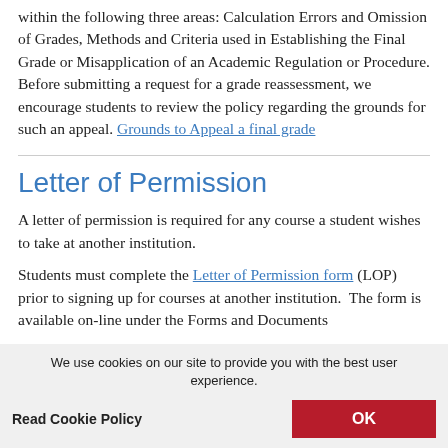within the following three areas: Calculation Errors and Omission of Grades, Methods and Criteria used in Establishing the Final Grade or Misapplication of an Academic Regulation or Procedure. Before submitting a request for a grade reassessment, we encourage students to review the policy regarding the grounds for such an appeal. Grounds to Appeal a final grade
Letter of Permission
A letter of permission is required for any course a student wishes to take at another institution.
Students must complete the Letter of Permission form (LOP) prior to signing up for courses at another institution.  The form is available on-line under the Forms and Documents
We use cookies on our site to provide you with the best user experience.
Read Cookie Policy
OK